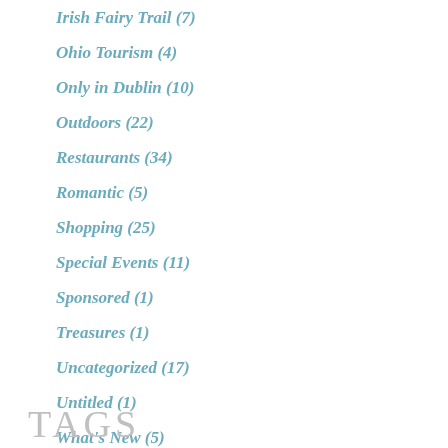Irish Fairy Trail (7)
Ohio Tourism (4)
Only in Dublin (10)
Outdoors (22)
Restaurants (34)
Romantic (5)
Shopping (25)
Special Events (11)
Sponsored (1)
Treasures (1)
Uncategorized (17)
Untitled (1)
What's New (5)
Winter (3)
TAGS